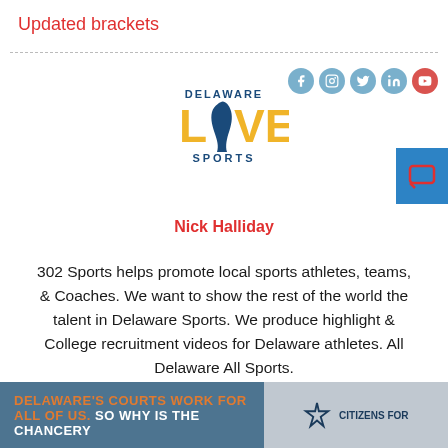Updated brackets
[Figure (logo): Delaware Live Sports logo with text DELAWARE LIVE SPORTS and Delaware state silhouette]
Nick Halliday
302 Sports helps promote local sports athletes, teams, & Coaches. We want to show the rest of the world the talent in Delaware Sports. We produce highlight & College recruitment videos for Delaware athletes. All Delaware All Sports.
[Figure (infographic): Advertisement banner: DELAWARE'S COURTS WORK FOR ALL OF US. SO WHY IS THE CHANCERY - CITIZENS FOR text with orange and white text on blue-grey background]